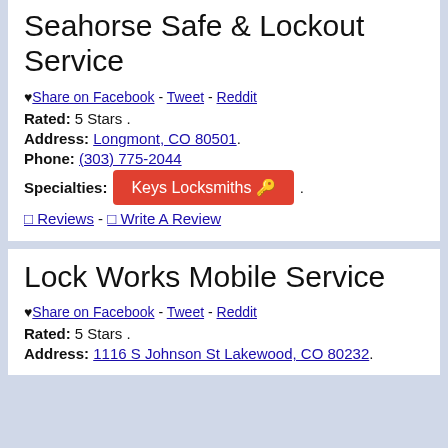Seahorse Safe & Lockout Service
♥ Share on Facebook - Tweet - Reddit
Rated: 5 Stars .
Address: Longmont, CO 80501.
Phone: (303) 775-2044
Specialties: Keys Locksmiths 🔑 .
0 Reviews - 0 Write A Review
Lock Works Mobile Service
♥ Share on Facebook - Tweet - Reddit
Rated: 5 Stars .
Address: 1116 S Johnson St Lakewood, CO 80232.